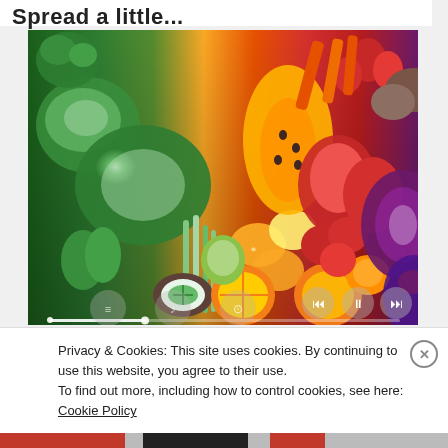Spread a little...
[Figure (photo): A colorful arrangement of fresh fruits and vegetables laid out in a rainbow pattern: green vegetables (broccoli, cabbage, celery, peppers, kiwi) on the left, yellow/orange fruits (lemons, oranges, papaya, peppers) in the middle, red items (tomatoes, red peppers, strawberries) and purple vegetables (red cabbage, eggplant) on the right, with media playback controls overlaid at the bottom.]
Privacy & Cookies: This site uses cookies. By continuing to use this website, you agree to their use.
To find out more, including how to control cookies, see here: Cookie Policy
Close and accept